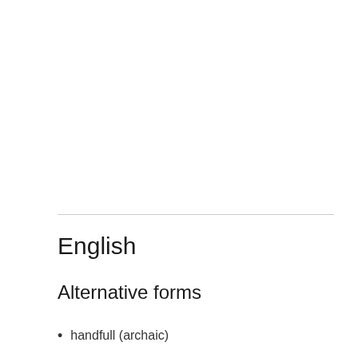English
Alternative forms
handfull (archaic)